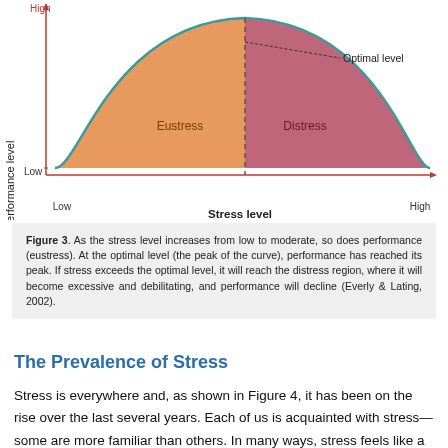[Figure (continuous-plot): Bell curve showing performance level (y-axis, Low to High) vs stress level (x-axis, Low to High). Left half of curve filled orange labeled 'Eustress', right half filled pink/red labeled 'Distress'. Dashed vertical line at peak with annotation 'Optimal level'. Axes drawn with red arrows.]
Figure 3. As the stress level increases from low to moderate, so does performance (eustress). At the optimal level (the peak of the curve), performance has reached its peak. If stress exceeds the optimal level, it will reach the distress region, where it will become excessive and debilitating, and performance will decline (Everly & Lating, 2002).
The Prevalence of Stress
Stress is everywhere and, as shown in Figure 4, it has been on the rise over the last several years. Each of us is acquainted with stress—some are more familiar than others. In many ways, stress feels like a load you just